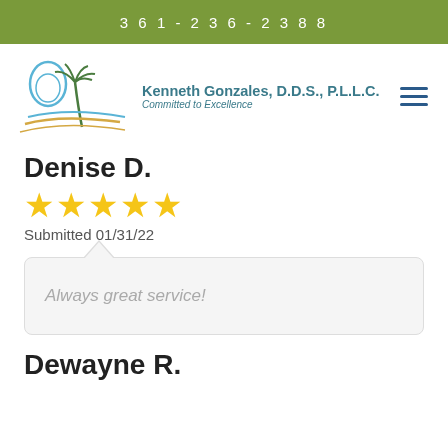361-236-2388
[Figure (logo): Kenneth Gonzales DDS PLLC dental office logo with tooth and palm tree, tagline: Committed to Excellence]
Denise D.
[Figure (infographic): 5 gold stars rating]
Submitted 01/31/22
Always great service!
Dewayne R.